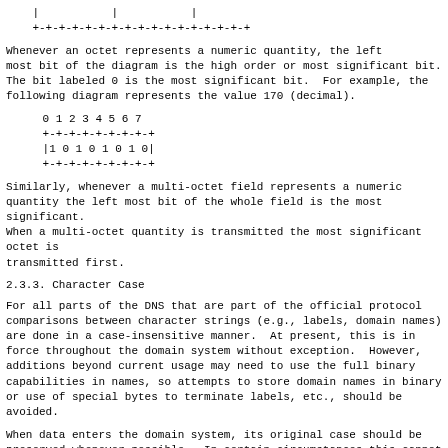[Figure (schematic): Top portion of a bit-field diagram showing border row +-+-+-+-+-+-+-+-+-+-+-+-+-+-+-+-+]
Whenever an octet represents a numeric quantity, the left most bit of the diagram is the high order or most significant bit. The bit labeled 0 is the most significant bit. For example, the following diagram represents the value 170 (decimal).
[Figure (schematic): Bit diagram showing 0 1 2 3 4 5 6 7 / +-+-+-+-+-+-+-+-+ / |1 0 1 0 1 0 1 0| / +-+-+-+-+-+-+-+-+]
Similarly, whenever a multi-octet field represents a numeric quantity the left most bit of the whole field is the most significant. When a multi-octet quantity is transmitted the most significant octet is transmitted first.
2.3.3. Character Case
For all parts of the DNS that are part of the official protocol comparisons between character strings (e.g., labels, domain names) are done in a case-insensitive manner. At present, this is in force throughout the domain system without exception. However, additions beyond current usage may need to use the full binary capabilities in names, so attempts to store domain names in binary or use of special bytes to terminate labels, etc., should be avoided.
When data enters the domain system, its original case should be preserved whenever possible. In certain circumstances this cannot be done. For example, if two RRs are stored in a database